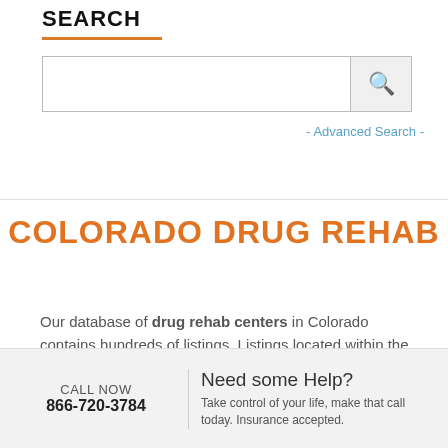SEARCH
[Figure (screenshot): Search bar with text input and search button icon]
- Advanced Search -
COLORADO DRUG REHAB
Our database of drug rehab centers in Colorado contains hundreds of listings. Listings located within the top 6 cities in Colorado for addiction treatment and all others as well. With all of these available
CALL NOW 866-720-3784 | Need some Help? Take control of your life, make that call today. Insurance accepted.